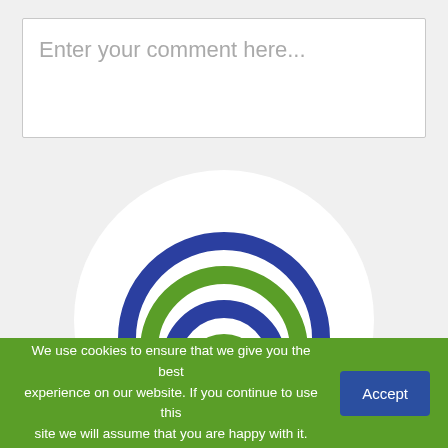Enter your comment here...
[Figure (logo): teachinglive.net logo: wifi-style arcs in alternating blue and green colors above the text 'teaching' in blue and 'live.net' in green, inside a white circle]
We use cookies to ensure that we give you the best experience on our website. If you continue to use this site we will assume that you are happy with it.